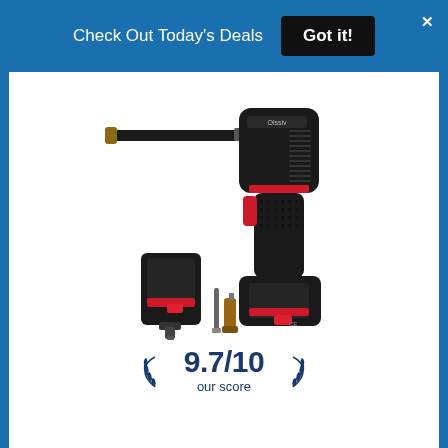Check Out Today's Deals  Got it!
[Figure (photo): Cordless tire inflator/air compressor product photo showing the main gun-style device with extended nozzle, plus two battery packs, a car charger, and adapter tips. Device is black with red accents. Score badge shows 9.7/10 our score.]
9.7/10 our score